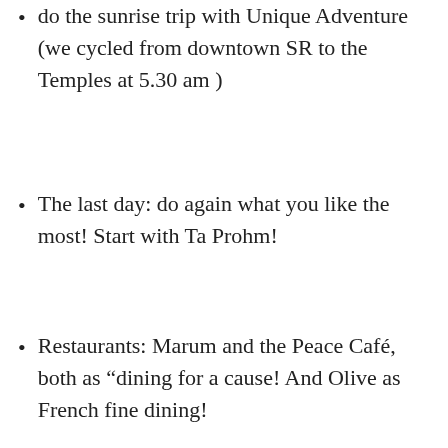do the sunrise trip with Unique Adventure (we cycled from downtown SR to the Temples at 5.30 am )
The last day: do again what you like the most! Start with Ta Prohm!
Restaurants: Marum and the Peace Café, both as “dining for a cause! And Olive as French fine dining!